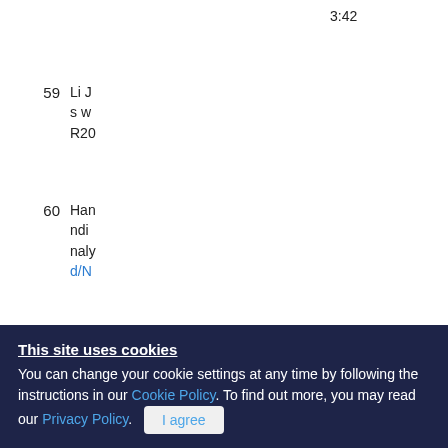3:42
59  Li J... s w... R20...
60  Han... ndi... naly... d/N...
61  Beh... bet... ar...
This site uses cookies
You can change your cookie settings at any time by following the instructions in our Cookie Policy. To find out more, you may read our Privacy Policy. I agree